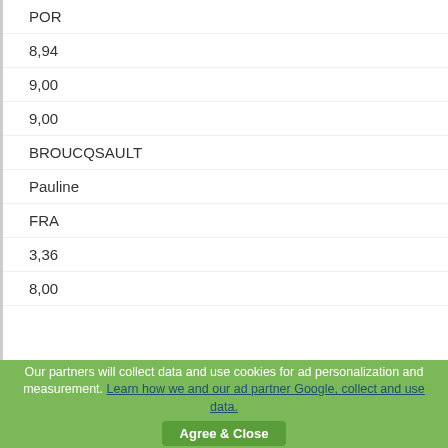POR
8,94
9,00
9,00
BROUCQSAULT
Pauline
FRA
3,36
8,00
Our partners will collect data and use cookies for ad personalization and measurement. Learn how we and our ad partner Google, collect and use data.